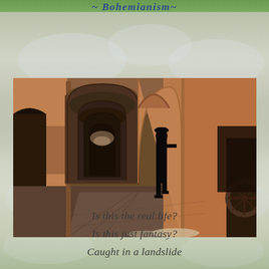~ Bohemianism~
[Figure (photo): A long arched corridor with ochre/terracotta walls and stone arches receding into the distance. A figure dressed in black stands in one of the arches on the right side, partially silhouetted. On the far right, part of an old carriage wheel is visible.]
Is this the real life?
Is this just fantasy?
Caught in a landslide